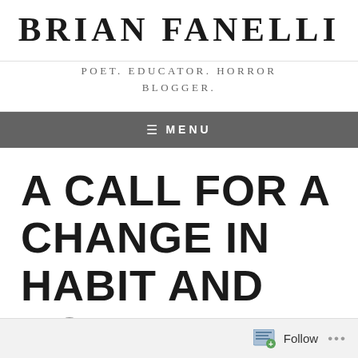BRIAN FANELLI
POET. EDUCATOR. HORROR BLOGGER.
≡ MENU
A CALL FOR A CHANGE IN HABIT AND ROUTINE
Follow ...